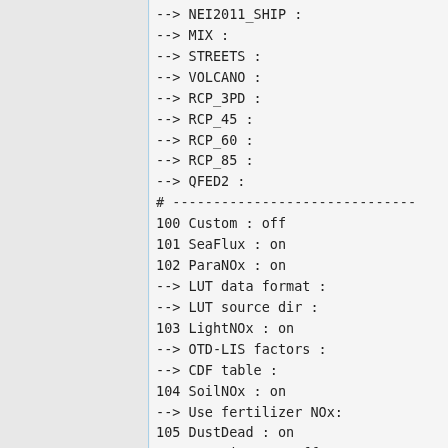--> NEI2011_SHIP      :
    --> MIX               :
    --> STREETS           :
    --> VOLCANO           :
    --> RCP_3PD           :
    --> RCP_45            :
    --> RCP_60            :
    --> RCP_85            :
    --> QFED2             :
# ----------------------------
100     Custom            : off
101     SeaFlux           : on
102     ParaNOx           : on
    --> LUT data format   :
    --> LUT source dir    :
103     LightNOx          : on
    --> OTD-LIS factors   :
    --> CDF table         :
104     SoilNOx           : on
    --> Use fertilizer NOx:
105     DustDead          : on
106     DustGinoux        : off
115     DustAlk           : off
107     SeaSalt           : on
    --> SALA lower radius :